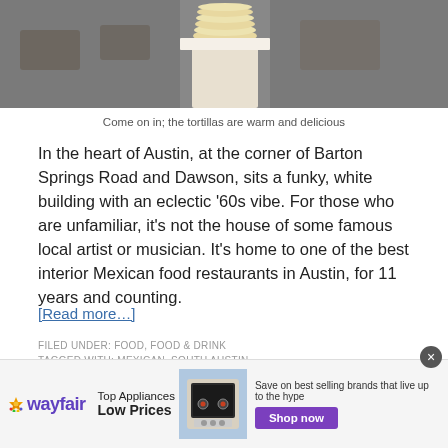[Figure (photo): Photo of a person holding a stack of tortillas on a cloth/towel, in a restaurant setting]
Come on in; the tortillas are warm and delicious
In the heart of Austin, at the corner of Barton Springs Road and Dawson, sits a funky, white building with an eclectic '60s vibe. For those who are unfamiliar, it's not the house of some famous local artist or musician. It's home to one of the best interior Mexican food restaurants in Austin, for 11 years and counting.
[Read more…]
FILED UNDER: FOOD, FOOD & DRINK
TAGGED WITH: MEXICAN, SOUTH AUSTIN
[Figure (photo): Wayfair advertisement banner: Top Appliances Low Prices, Save on best selling brands that live up to the hype, Shop now button]